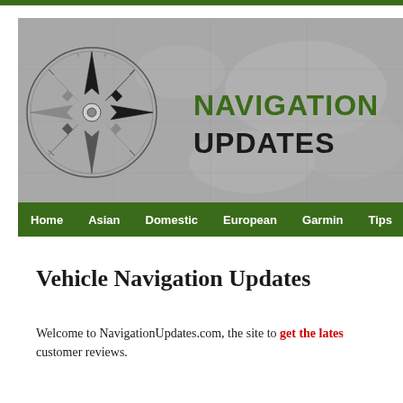[Figure (screenshot): Navigation Updates website header banner with compass rose logo on gray world map background, green text 'NAVIGATION' and black text 'UPDATES']
[Figure (screenshot): Green navigation menu bar with white bold links: Home, Asian, Domestic, European, Garmin, Tips, Blog]
Vehicle Navigation Updates
Welcome to NavigationUpdates.com, the site to get the lates... customer reviews.